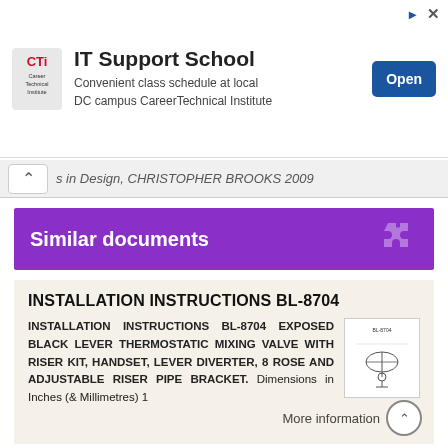[Figure (other): CTI Career Technical Institute advertisement banner with logo, 'IT Support School' heading, subtitle 'Convenient class schedule at local DC campus CareerTechnical Institute', and an 'Open' button]
s in Design, CHRISTOPHER BROOKS 2009
Similar documents
INSTALLATION INSTRUCTIONS BL-8704
INSTALLATION INSTRUCTIONS BL-8704 EXPOSED BLACK LEVER THERMOSTATIC MIXING VALVE WITH RISER KIT, HANDSET, LEVER DIVERTER, 8 ROSE AND ADJUSTABLE RISER PIPE BRACKET. Dimensions in Inches (& Millimetres) 1
More information